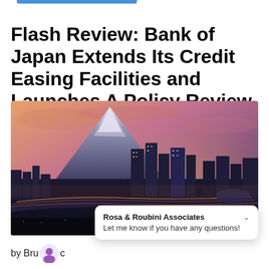Flash Review: Bank of Japan Extends Its Credit Easing Facilities and Launches A Policy Review
[Figure (photo): Aerial night view of a Japanese city (likely Yokohama/Tokyo area) with illuminated skyscrapers and highways, with Mount Fuji visible in the background against an orange-pink sunset sky.]
Rosa & Roubini Associates
Let me know if you have any questions!
by Bru...c